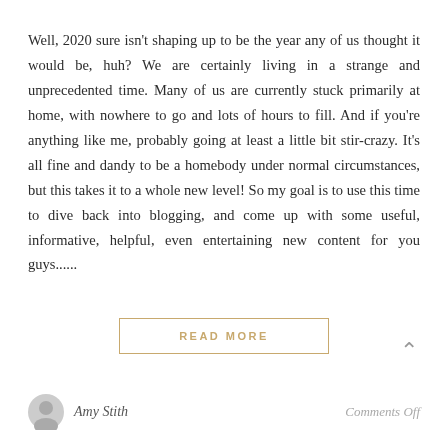Well, 2020 sure isn't shaping up to be the year any of us thought it would be, huh? We are certainly living in a strange and unprecedented time. Many of us are currently stuck primarily at home, with nowhere to go and lots of hours to fill. And if you're anything like me, probably going at least a little bit stir-crazy. It's all fine and dandy to be a homebody under normal circumstances, but this takes it to a whole new level! So my goal is to use this time to dive back into blogging, and come up with some useful, informative, helpful, even entertaining new content for you guys......
READ MORE
Amy Stith
Comments Off